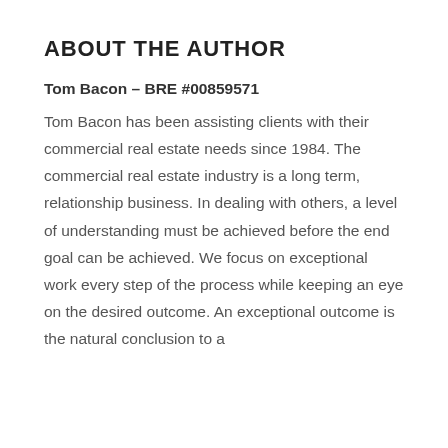ABOUT THE AUTHOR
Tom Bacon – BRE #00859571
Tom Bacon has been assisting clients with their commercial real estate needs since 1984. The commercial real estate industry is a long term, relationship business. In dealing with others, a level of understanding must be achieved before the end goal can be achieved. We focus on exceptional work every step of the process while keeping an eye on the desired outcome. An exceptional outcome is the natural conclusion to a